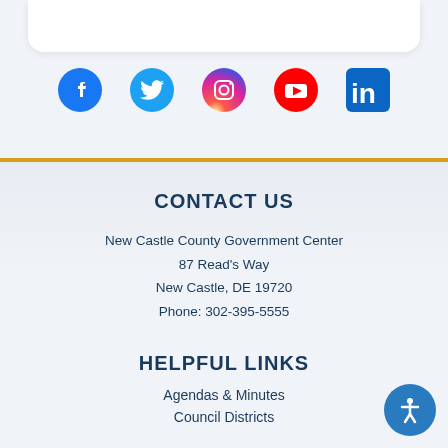[Figure (illustration): Row of five social media icons: Facebook (blue circle), Twitter (blue bird), Instagram (gradient circle), YouTube (red rectangle), LinkedIn (blue square)]
CONTACT US
New Castle County Government Center
87 Read's Way
New Castle, DE 19720
Phone: 302-395-5555
HELPFUL LINKS
Agendas & Minutes
Council Districts